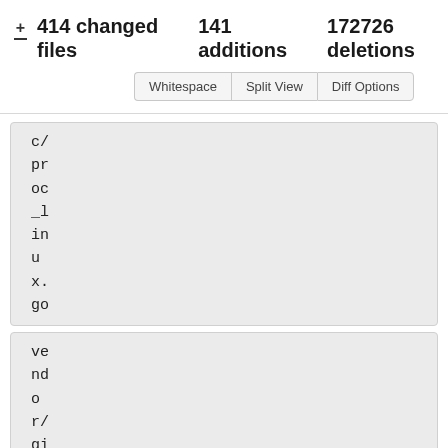+ - 414 changed files   141 additions   172726 deletions
Whitespace   Split View   Diff Options
c/proc_linux.go
vendor/github.b.